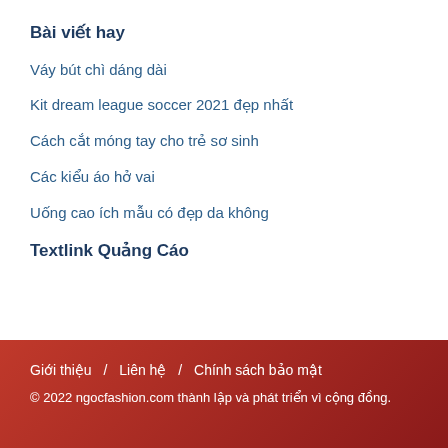Bài viết hay
Váy bút chì dáng dài
Kit dream league soccer 2021 đẹp nhất
Cách cắt móng tay cho trẻ sơ sinh
Các kiểu áo hở vai
Uống cao ích mẫu có đẹp da không
Textlink Quảng Cáo
Giới thiệu / Liên hệ / Chính sách bảo mật
© 2022 ngocfashion.com thành lập và phát triển vì cộng đồng.